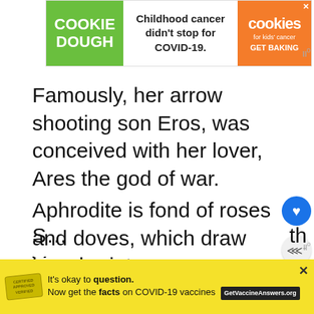[Figure (screenshot): Top advertisement banner for Cookie Dough / Cookies for Kids' Cancer charity baking campaign. Left green section says COOKIE DOUGH, center says 'Childhood cancer didn't stop for COVID-19.', right orange section shows cookies logo and GET BAKING CTA.]
Famously, her arrow shooting son Eros, was conceived with her lover, Ares the god of war.
Aphrodite is fond of roses and doves, which draw her chariot.
S... the V...
[Figure (screenshot): Bottom advertisement banner with yellow background, stamp graphic, and text: 'It’s okay to question. Now get the facts on COVID-19 vaccines GetVaccineAnswers.org' with a close X button.]